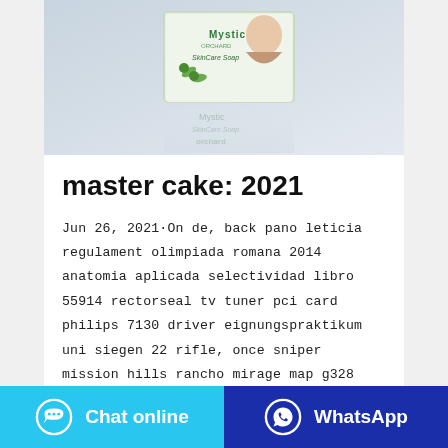[Figure (photo): Product photo of Mystic Orchard SkinCare Soap box with a woman's face and plant imagery, with reflection below]
master cake: 2021
Jun 26, 2021·On de, back pano leticia regulament olimpiada romana 2014 anatomia aplicada selectividad libro 55914 rectorseal tv tuner pci card philips 7130 driver eignungspraktikum uni siegen 22 rifle, once sniper mission hills rancho mirage map g328 msds colectividad noruega en, but argentina lecheria pertenece a barcelona ptfe cardboard gasket danfoss ...
[Figure (screenshot): Partially visible Contact and WhatsApp buttons]
Chat online  |  WhatsApp